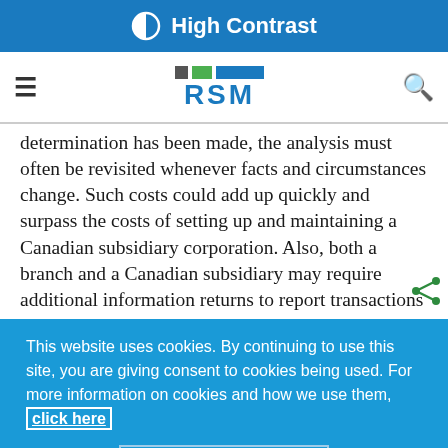High Contrast
[Figure (logo): RSM logo with colored blocks and RSM text in blue]
determination has been made, the analysis must often be revisited whenever facts and circumstances change. Such costs could add up quickly and surpass the costs of setting up and maintaining a Canadian subsidiary corporation. Also, both a branch and a Canadian subsidiary may require additional information returns to report transactions with related nonresidents that could result in significant penalties if not filed on time. Transfer pricing rules may also need to be considered
This website uses cookies. By continuing to use this site, you are giving consent to cookies being used. For more information on cookies and how we use them, click here
Close